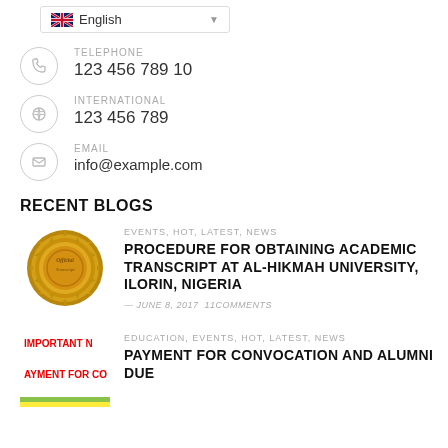[Figure (screenshot): Language selector dropdown showing UK flag and 'English' text]
TELEPHONE
123 456 789 10
INTERNATIONAL
123 456 789
EMAIL
info@example.com
RECENT BLOGS
EVENTS, HOT, LATEST, NEWS
PROCEDURE FOR OBTAINING ACADEMIC TRANSCRIPT AT AL-HIKMAH UNIVERSITY, ILORIN, NIGERIA
— JUNE 8, 2017  11COMMENTS
EDUCATION, EVENTS, HOT, LATEST, NEWS
PAYMENT FOR CONVOCATION AND ALUMNI DUE